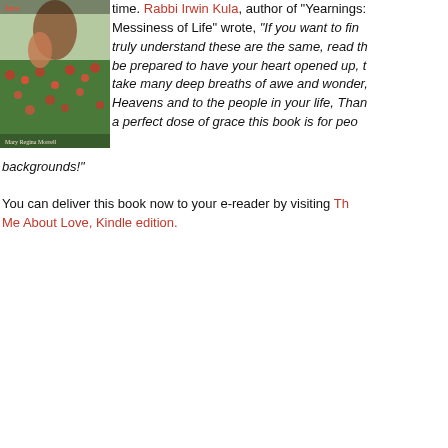[Figure (photo): Book cover of 'Teach Me About Love' by Mary Regina Morrell, showing an adult hand holding a child's hand in a field of red flowers]
time. Rabbi Irwin Kula, author of "Yearnings: Embracing the Sacredness and the Messiness of Life" wrote, "If you want to find that loving and to truly understand these are the same, read this stunning book and be prepared to have your heart opened up, to laugh out loud, to take many deep breaths of awe and wonder, to feel grateful to the Heavens and to the people in your life, Thank you, for what a perfect dose of grace this book is for people of all backgrounds!"
You can deliver this book now to your e-reader by visiting Teach Me About Love, Kindle edition.